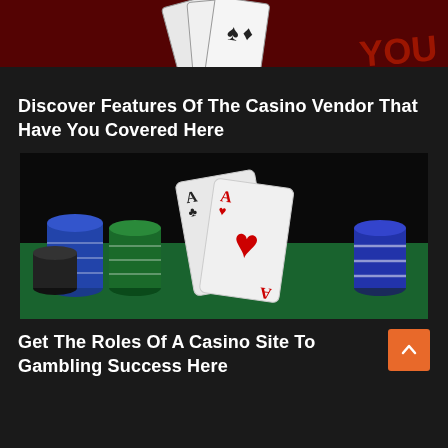[Figure (photo): Partial top of a casino-themed image showing playing cards fanned out on a dark red background with a dice or chip visible]
Discover Features Of The Casino Vendor That Have You Covered Here
[Figure (photo): Casino chips in multiple colors (blue, red, green, black) stacked on a green felt surface with two playing cards (Ace of clubs and Ace of hearts) fanned out in the foreground]
Get The Roles Of A Casino Site To Gambling Success Here